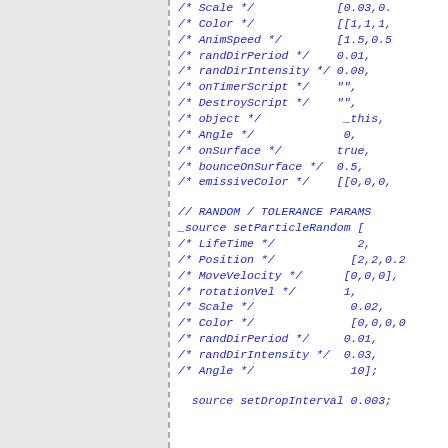[Figure (screenshot): Code snippet showing particle system configuration parameters in a scripting language, with comments listing property names and values for Scale, Color, AnimSpeed, randDirPeriod, randDirIntensity, onTimerScript, DestroyScript, object, Angle, onSurface, bounceOnSurface, emissiveColor, followed by a RANDOM/TOLERANCE PARAMS section with setParticleRandom call listing LifeTime, Position, MoveVelocity, rotationVel, Scale, Color, randDirPeriod, randDirIntensity, Angle, and a setDropInterval call.]